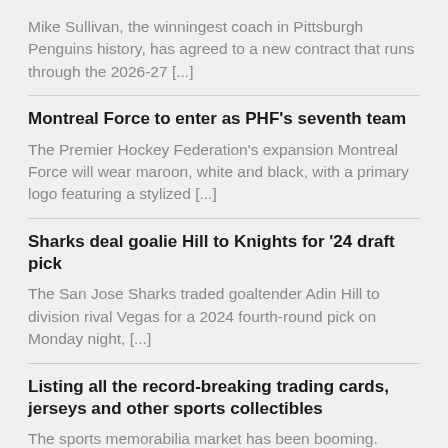Mike Sullivan, the winningest coach in Pittsburgh Penguins history, has agreed to a new contract that runs through the 2026-27 [...]
Montreal Force to enter as PHF's seventh team
The Premier Hockey Federation's expansion Montreal Force will wear maroon, white and black, with a primary logo featuring a stylized [...]
Sharks deal goalie Hill to Knights for '24 draft pick
The San Jose Sharks traded goaltender Adin Hill to division rival Vegas for a 2024 fourth-round pick on Monday night, [...]
Listing all the record-breaking trading cards, jerseys and other sports collectibles
The sports memorabilia market has been booming. Jerseys, trading card, shoes, even miscellaneous items like ticket stubs have sold for [...]